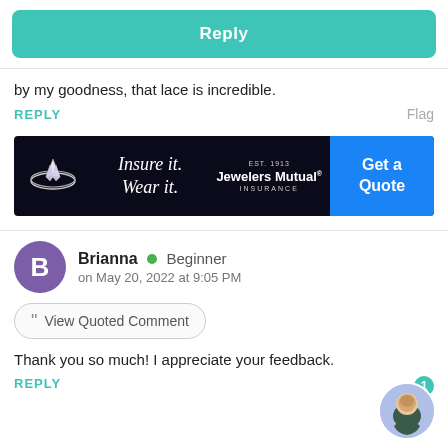Reply
by my goodness, that lace is incredible.
REPLY
Flag
[Figure (screenshot): Advertisement banner for Jewelers Mutual Insurance: 'Insure it. Wear it.' with a diamond ring graphic and 'Get a Quote' call to action button]
Brianna  Beginner
on May 20, 2022 at 9:05 PM
View Quoted Comment
Thank you so much! I appreciate your feedback.
REPLY